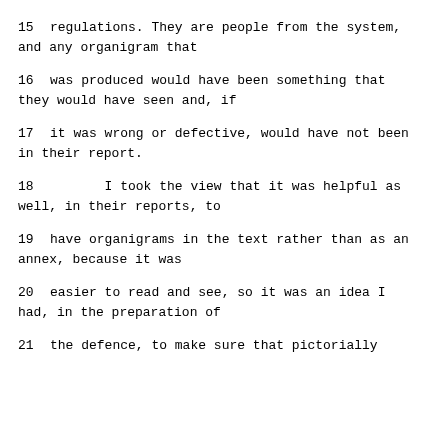15     regulations.  They are people from the system, and any organigram that
16     was produced would have been something that they would have seen and, if
17     it was wrong or defective, would have not been in their report.
18          I took the view that it was helpful as well, in their reports, to
19     have organigrams in the text rather than as an annex, because it was
20     easier to read and see, so it was an idea I had, in the preparation of
21     the defence, to make sure that pictorially